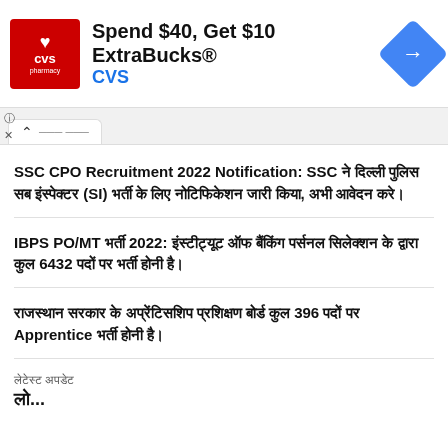[Figure (infographic): CVS Pharmacy advertisement banner: red logo with heart and CVS pharmacy text, 'Spend $40, Get $10 ExtraBucks® CVS' with blue navigation icon]
SSC CPO Recruitment 2022 Notification: SSC ने दिल्ली पुलिस सब इंस्पेक्टर (SI) भर्ती के लिए नोटिफिकेशन जारी किया, अभी आवेदन करे।
IBPS PO/MT भर्ती 2022: इंस्टीट्यूट ऑफ बैंकिंग पर्सनल सिलेक्शन के द्वारा कुल 6432 पदों पर भर्ती होनी है।
राजस्थान सरकार के अप्रेंटिसशिप प्रशिक्षण बोर्ड कुल 396 पदों पर Apprentice भर्ती होनी है।
लेटेस्ट अपडेट